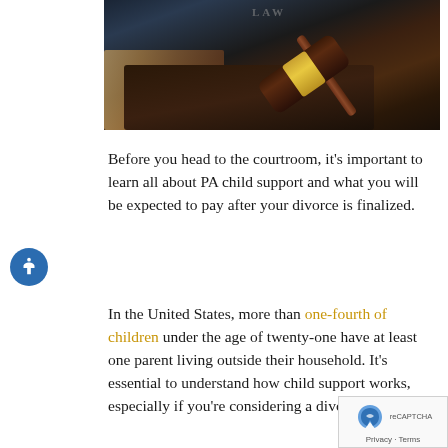[Figure (photo): A judge's wooden gavel with a gold band resting on a dark leather-bound law book, with blue background elements]
Before you head to the courtroom, it's important to learn all about PA child support and what you will be expected to pay after your divorce is finalized.
In the United States, more than one-fourth of children under the age of twenty-one have at least one parent living outside their household. It's essential to understand how child support works, especially if you're considering a divo...